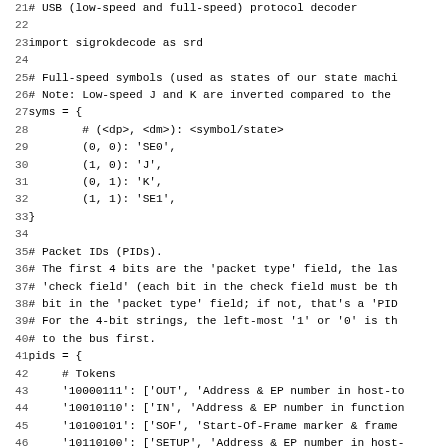[Figure (screenshot): Source code listing of a Python USB protocol decoder (sigrokdecode). Lines 21-52 shown. Includes import statement, syms dictionary mapping (dp,dm) tuples to USB symbols (SE0, J, K, SE1), and beginning of pids dictionary with Tokens section and start of Data section.]